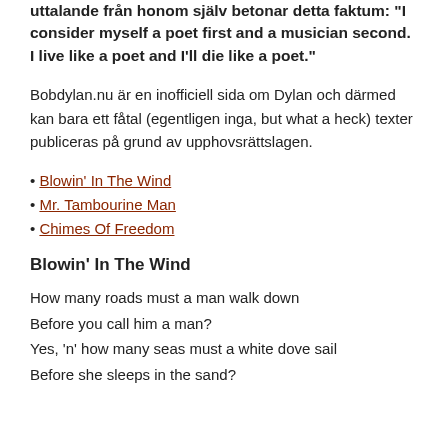uttalande från honom själv betonar detta faktum: "I consider myself a poet first and a musician second. I live like a poet and I'll die like a poet."
Bobdylan.nu är en inofficiell sida om Dylan och därmed kan bara ett fåtal (egentligen inga, but what a heck) texter publiceras på grund av upphovsrättslagen.
Blowin' In The Wind
Mr. Tambourine Man
Chimes Of Freedom
Blowin' In The Wind
How many roads must a man walk down
Before you call him a man?
Yes, 'n' how many seas must a white dove sail
Before she sleeps in the sand?